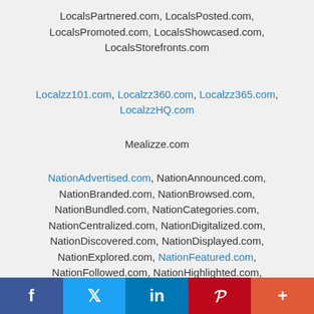LocalsPartnered.com, LocalsPosted.com, LocalsPromoted.com, LocalsShowcased.com, LocalsStorefronts.com
Localzz101.com, Localzz360.com, Localzz365.com, LocalzzHQ.com
Mealizze.com
NationAdvertised.com, NationAnnounced.com, NationBranded.com, NationBrowsed.com, NationBundled.com, NationCategories.com, NationCentralized.com, NationDigitalized.com, NationDiscovered.com, NationDisplayed.com, NationExplored.com, NationFeatured.com, NationFollowed.com, NationHighlighted.com, Nationizze.com, NationLifestyled.com, NationLiked.com, NationListed.com, NationLived.com, NationMarketed.com
f  Twitter  in  Pinterest  +